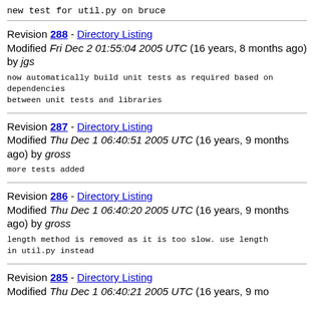new test for util.py on bruce
Revision 288 - Directory Listing
Modified Fri Dec 2 01:55:04 2005 UTC (16 years, 8 months ago) by jgs
now automatically build unit tests as required based on dependencies
between unit tests and libraries
Revision 287 - Directory Listing
Modified Thu Dec 1 06:40:51 2005 UTC (16 years, 9 months ago) by gross
more tests added
Revision 286 - Directory Listing
Modified Thu Dec 1 06:40:20 2005 UTC (16 years, 9 months ago) by gross
length method is removed as it is too slow. use length in util.py instead
Revision 285 - Directory Listing
Modified Thu Dec 1 06:40:21 2005 UTC (16 years, 9 months ago)